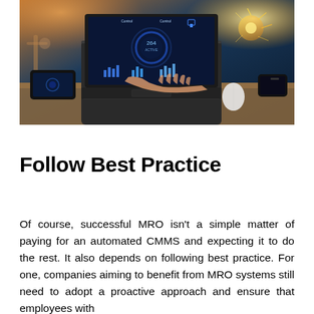[Figure (photo): Person's hand touching a laptop keyboard with a futuristic industrial IoT dashboard displayed on the laptop screen showing gauges and charts. Industrial sparks visible in the background. Tablet and smartphone on the wooden desk.]
Follow Best Practice
Of course, successful MRO isn't a simple matter of paying for an automated CMMS and expecting it to do the rest. It also depends on following best practice. For one, companies aiming to benefit from MRO systems still need to adopt a proactive approach and ensure that employees with